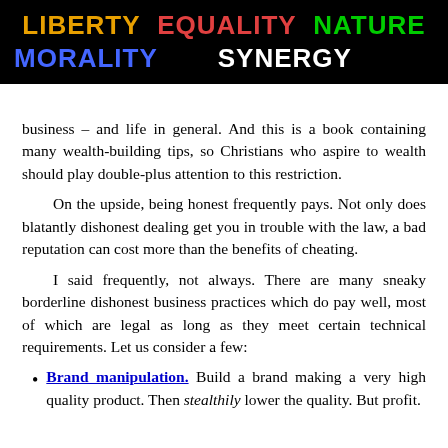LIBERTY   EQUALITY   NATURE   MORALITY   SYNERGY
business – and life in general. And this is a book containing many wealth-building tips, so Christians who aspire to wealth should play double-plus attention to this restriction.
On the upside, being honest frequently pays. Not only does blatantly dishonest dealing get you in trouble with the law, a bad reputation can cost more than the benefits of cheating.
I said frequently, not always. There are many sneaky borderline dishonest business practices which do pay well, most of which are legal as long as they meet certain technical requirements. Let us consider a few:
Brand manipulation. Build a brand making a very high quality product. Then stealthily lower the quality. But profit.